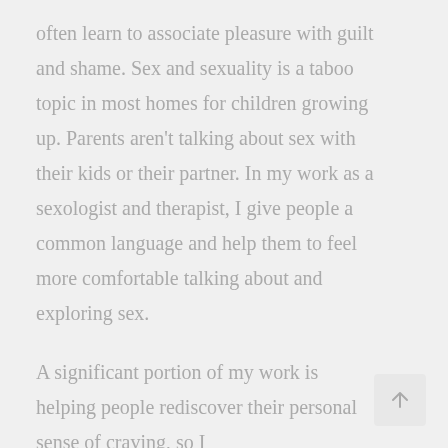often learn to associate pleasure with guilt and shame. Sex and sexuality is a taboo topic in most homes for children growing up. Parents aren't talking about sex with their kids or their partner. In my work as a sexologist and therapist, I give people a common language and help them to feel more comfortable talking about and exploring sex.
A significant portion of my work is helping people rediscover their personal sense of craving, so I